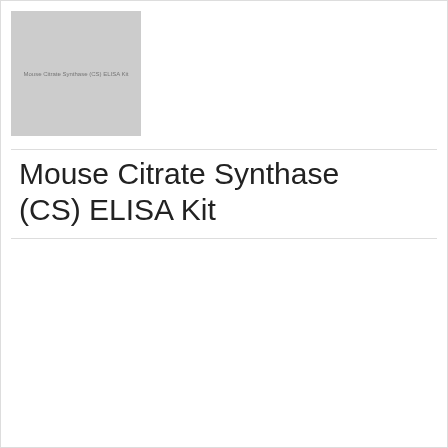[Figure (photo): Product image placeholder for Mouse Citrate Synthase (CS) ELISA Kit]
Mouse Citrate Synthase (CS) ELISA Kit
| Product ID | Supplier | Price | Size |
| --- | --- | --- | --- |
| 20-abx153825 | Abbexa | EUR 7237.00
EUR 3855.00
EUR 895.00 | 10 × 96 tests
5 × 96 tests
96 tests |